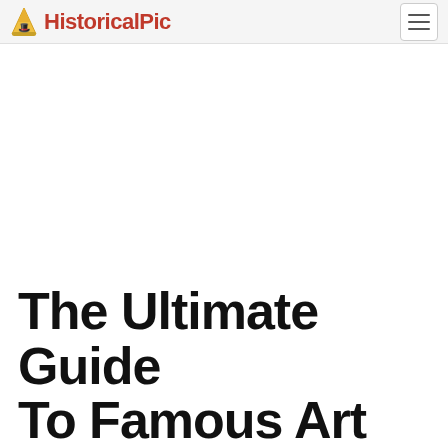HistoricalPic
The Ultimate Guide To Famous Art